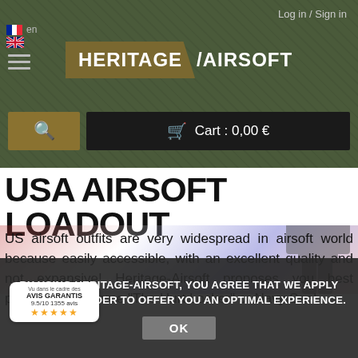Log in / Sign in
[Figure (logo): Heritage Airsoft logo with dark olive green background, French and UK flags, hamburger menu icon, search button and cart showing 0,00 €]
USA AIRSOFT LOADOUT
US airsoft outfits are very widespread in airsoft world because easily accessible, with an excellent quality and not expansive! Heritage-Airsoft proposes you best products to become "The Hurt Locker" or Navy Seal
BY USING HERITAGE-AIRSOFT, YOU AGREE THAT WE APPLY COOKIES IN ORDER TO OFFER YOU AN OPTIMAL EXPERIENCE.